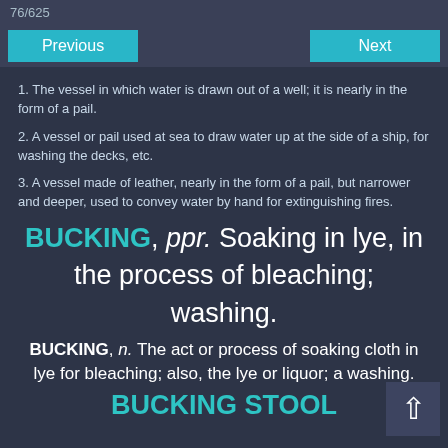76/625
Previous | Next
1. The vessel in which water is drawn out of a well; it is nearly in the form of a pail.
2. A vessel or pail used at sea to draw water up at the side of a ship, for washing the decks, etc.
3. A vessel made of leather, nearly in the form of a pail, but narrower and deeper, used to convey water by hand for extinguishing fires.
BUCKING, ppr. Soaking in lye, in the process of bleaching; washing.
BUCKING, n. The act or process of soaking cloth in lye for bleaching; also, the lye or liquor; a washing.
BUCKING STOOL, n. A washing block.